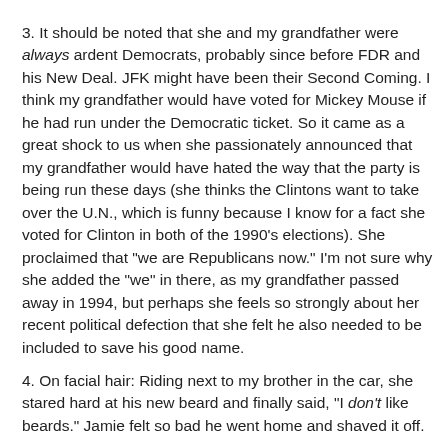3. It should be noted that she and my grandfather were always ardent Democrats, probably since before FDR and his New Deal. JFK might have been their Second Coming. I think my grandfather would have voted for Mickey Mouse if he had run under the Democratic ticket. So it came as a great shock to us when she passionately announced that my grandfather would have hated the way that the party is being run these days (she thinks the Clintons want to take over the U.N., which is funny because I know for a fact she voted for Clinton in both of the 1990's elections). She proclaimed that "we are Republicans now." I'm not sure why she added the "we" in there, as my grandfather passed away in 1994, but perhaps she feels so strongly about her recent political defection that she felt he also needed to be included to save his good name.
4. On facial hair: Riding next to my brother in the car, she stared hard at his new beard and finally said, "I don't like beards." Jamie felt so bad he went home and shaved it off.